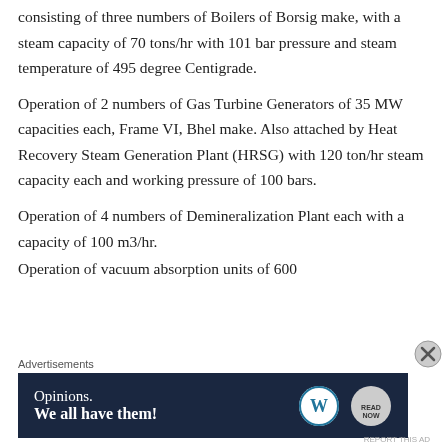consisting of three numbers of Boilers of Borsig make, with a steam capacity of 70 tons/hr with 101 bar pressure and steam temperature of 495 degree Centigrade.
Operation of 2 numbers of Gas Turbine Generators of 35 MW capacities each, Frame VI, Bhel make. Also attached by Heat Recovery Steam Generation Plant (HRSG) with 120 ton/hr steam capacity each and working pressure of 100 bars.
Operation of 4 numbers of Demineralization Plant each with a capacity of 100 m3/hr.
Operation of vacuum absorption units of 600
Advertisements
[Figure (other): Advertisement banner with dark navy background. Text reads 'Opinions. We all have them!' with WordPress logo and another circular logo on the right.]